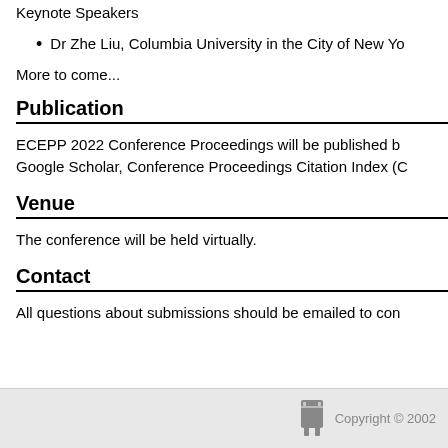Keynote Speakers
Dr Zhe Liu, Columbia University in the City of New York
More to come...
Publication
ECEPP 2022 Conference Proceedings will be published by Google Scholar, Conference Proceedings Citation Index (C
Venue
The conference will be held virtually.
Contact
All questions about submissions should be emailed to con
Copyright © 2002